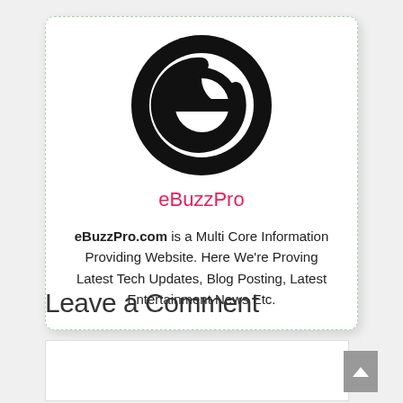[Figure (logo): eBuzzPro circular logo — black circle with white letter 'e' cut out]
eBuzzPro
eBuzzPro.com is a Multi Core Information Providing Website. Here We're Proving Latest Tech Updates, Blog Posting, Latest Entertainment News Etc.
Leave a Comment